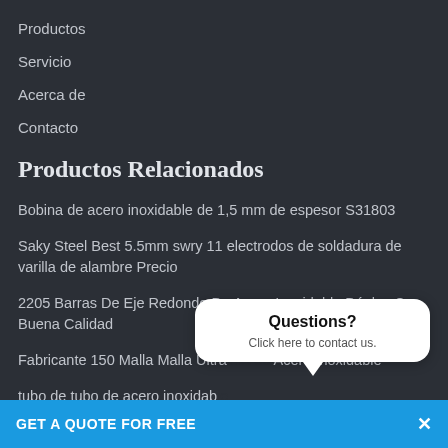Productos
Servicio
Acerca de
Contacto
Productos Relacionados
Bobina de acero inoxidable de 1,5 mm de espesor S31803
Saky Steel Best 5.5mm swry 11 electrodos de soldadura de varilla de alambre Precio
2205 Barras De Eje Redondo De Acero Inoxidable Dúplex Con Buena Calidad
Fabricante 150 Malla Malla Ultra... Acero Inoxidable
tubo de tubo de acero inoxidab... precio
[Figure (other): Chat bubble popup with text 'Questions?' and 'Click here to contact us.']
GET A QUOTE FOR FREE  ×